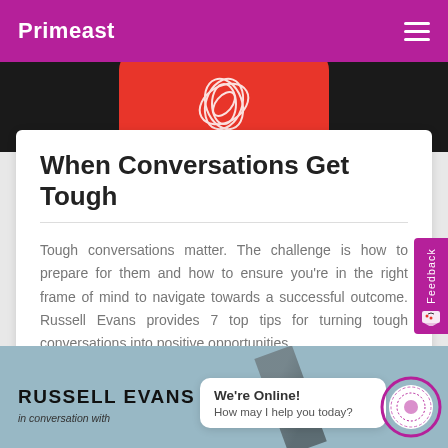Primeast
[Figure (illustration): Hero banner with dark background, red rounded card and white swirl graphic]
When Conversations Get Tough
Tough conversations matter. The challenge is how to prepare for them and how to ensure you're in the right frame of mind to navigate towards a successful outcome. Russell Evans provides 7 top tips for turning tough conversations into positive opportunities.
Read more >
[Figure (screenshot): Bottom banner showing 'RUSSELL EVANS in conversation with' text on blue-grey background, with a chat bubble saying 'We're Online! How may I help you today?' and a circular graphic on the right]